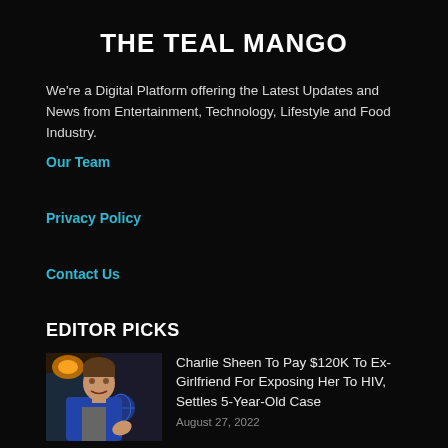THE TEAL MANGO
We're a Digital Platform offering the Latest Updates and News from Entertainment, Technology, Lifestyle and Food Industry.
Our Team
Privacy Policy
Contact Us
EDITOR PICKS
[Figure (photo): Photo of Charlie Sheen in a blue jacket against a colorful background]
Charlie Sheen To Pay $120K To Ex-Girlfriend For Exposing Her To HIV, Settles 5-Year-Old Case
August 27, 2022